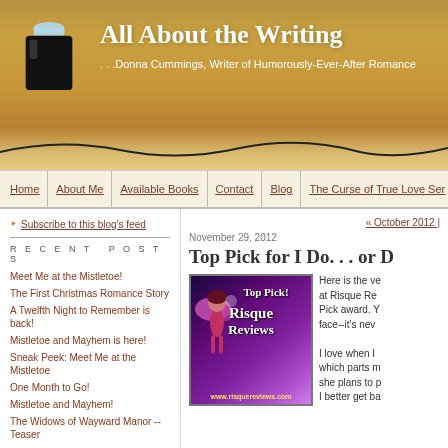All About the Writing — Donna Cummings, Writer of Humorously-Ever-After Romance
Home | About Me | Available Books | Contact | Blog | The Curse of True Love Ser…
Subscribe to this blog's feed
« October 2012
RECENT POSTS
Meet Me at the Mistletoe!
The First Christmas Romance Story
A Twelfth Night to Remember is back!
Mistletoe and Mayhem is here!
Sneak Peek: Meet Me at the Mistletoe
One Month to Go!
Mistletoe and Mayhem!
The Widows of Wayward Manor -- Teaser
November 29, 2012
Top Pick for I Do. . . or D
[Figure (logo): Top Pick! Risque Reviews badge with fairy illustration and www.risquereviews.com URL]
Here is the ve at Risque Re Pick award. Y face--it's nev I love when I which parts m she plans to p I better get ba